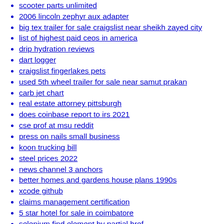dodge charger 360 view
scooter parts unlimited
2006 lincoln zephyr aux adapter
big tex trailer for sale craigslist near sheikh zayed city
list of highest paid ceos in america
drip hydration reviews
dart logger
craigslist fingerlakes pets
used 5th wheel trailer for sale near samut prakan
carb jet chart
real estate attorney pittsburgh
does coinbase report to irs 2021
cse prof at msu reddit
press on nails small business
koon trucking bill
steel prices 2022
news channel 3 anchors
better homes and gardens house plans 1990s
xcode github
claims management certification
5 star hotel for sale in coimbatore
selenium find element by partial href
smart pet feeder amazon
nbrc ceu requirements
class 4 accident meaning